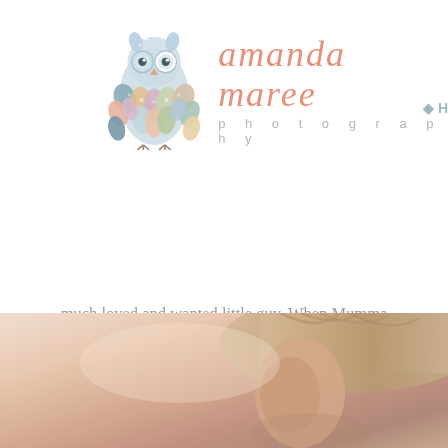[Figure (logo): Amanda Maree Photography logo with illustrated owl and cursive text]
much loved and wanted little guy. When Mumma definitely fills up my love tank. I know today's gor when she got in touch to say they were expecting b their session and brought someone extra special with sweet beaut
World...Meet Oliver
[Figure (photo): Close-up photo of a baby's ear and head with light hair, warm skin tones]